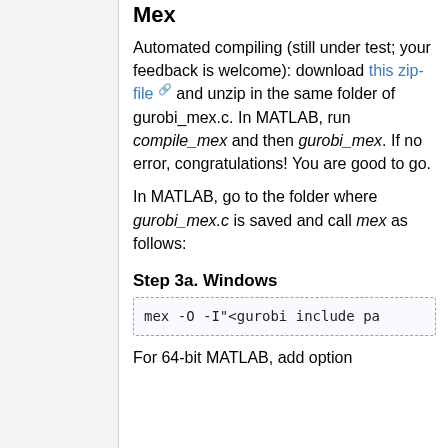Mex
Automated compiling (still under test; your feedback is welcome): download this zip-file and unzip in the same folder of gurobi_mex.c. In MATLAB, run compile_mex and then gurobi_mex. If no error, congratulations! You are good to go.
In MATLAB, go to the folder where gurobi_mex.c is saved and call mex as follows:
Step 3a. Windows
mex -O -I"<gurobi include pa
For 64-bit MATLAB, add option